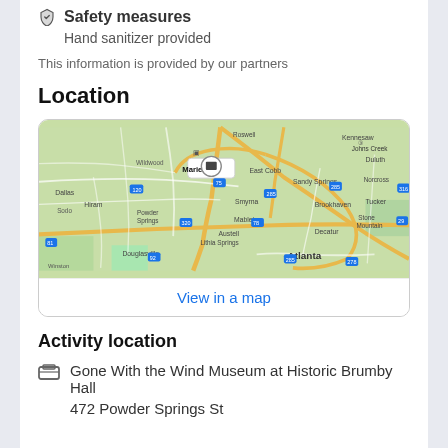Safety measures
Hand sanitizer provided
This information is provided by our partners
Location
[Figure (map): Google Maps showing the Atlanta metro area with Marietta marked by a pin icon. Visible cities include Kennesaw, Roswell, East Cobb, Duluth, Wildwood, Sandy Springs, Norcross, Dallas, Smyrna, Brookhaven, Tucker, Sodo, Hiram, Powder Springs, Mableton, Stone Mountain, Austell, Lithia Springs, Decatur, Douglasville, Atlanta.]
View in a map
Activity location
Gone With the Wind Museum at Historic Brumby Hall
472 Powder Springs St